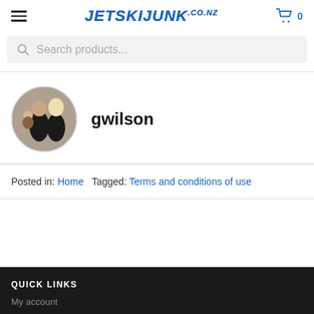JETSKIJUNK.co.nz
Search products...
[Figure (photo): Circular profile photo of a family: a man in a black suit holding a baby, and a woman with blonde hair.]
gwilson
Posted in: Home   Tagged: Terms and conditions of use
QUICK LINKS
My account